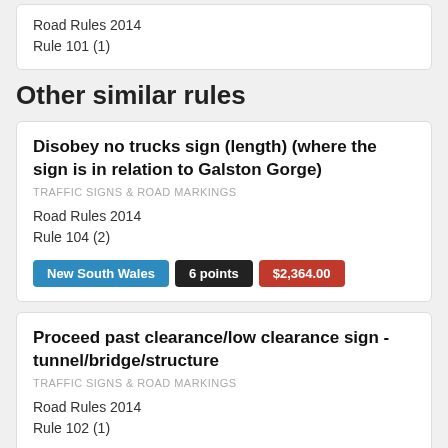Road Rules 2014
Rule 101 (1)
Other similar rules
Disobey no trucks sign (length) (where the sign is in relation to Galston Gorge)
TRAFFIC SIGNS & ROAD MARKINGS
Road Rules 2014
Rule 104 (2)
New South Wales   6 points   $2,364.00
Proceed past clearance/low clearance sign - tunnel/bridge/structure
TRAFFIC SIGNS & ROAD MARKINGS
Road Rules 2014
Rule 102 (1)